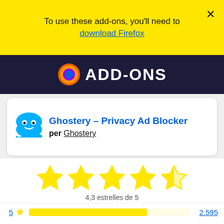To use these add-ons, you'll need to download Firefox
[Figure (screenshot): Firefox Add-ons site dark header with Firefox logo and ADD-ONS text]
Ghostery – Privacy Ad Blocker per Ghostery
[Figure (infographic): 4,3 estrella rating with 4 full yellow stars and 1 partial star]
4,3 estrelles de 5
5 ★ — 2.595
4 ★ — 536
3 ★ — 163
2 ★ — 104